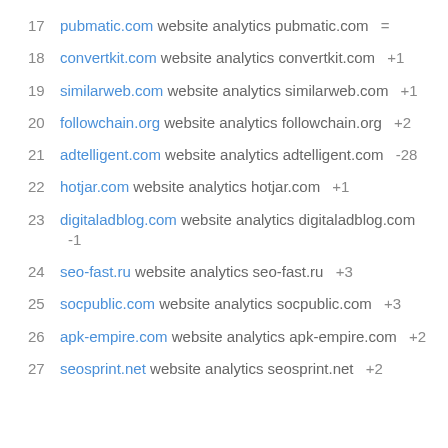17  pubmatic.com website analytics pubmatic.com =
18  convertkit.com website analytics convertkit.com  +1
19  similarweb.com website analytics similarweb.com  +1
20  followchain.org website analytics followchain.org  +2
21  adtelligent.com website analytics adtelligent.com  -28
22  hotjar.com website analytics hotjar.com  +1
23  digitaladblog.com website analytics digitaladblog.com  -1
24  seo-fast.ru website analytics seo-fast.ru  +3
25  socpublic.com website analytics socpublic.com  +3
26  apk-empire.com website analytics apk-empire.com  +2
27  seosprint.net website analytics seosprint.net  +2